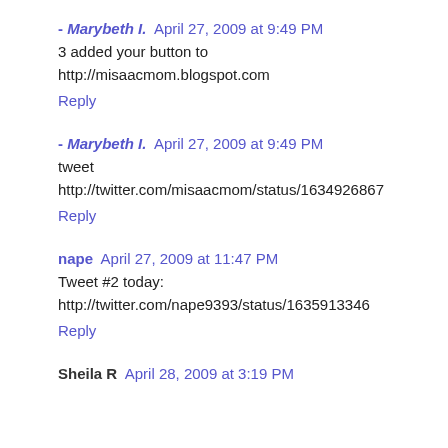- Marybeth I.  April 27, 2009 at 9:49 PM
3 added your button to http://misaacmom.blogspot.com
Reply
- Marybeth I.  April 27, 2009 at 9:49 PM
tweet http://twitter.com/misaacmom/status/1634926867
Reply
nape  April 27, 2009 at 11:47 PM
Tweet #2 today:
http://twitter.com/nape9393/status/1635913346
Reply
Sheila R  April 28, 2009 at 3:19 PM